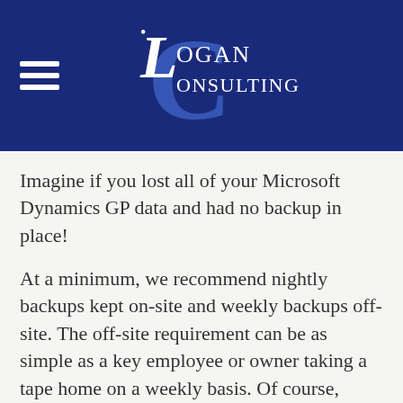Logan Consulting
Imagine if you lost all of your Microsoft Dynamics GP data and had no backup in place!
At a minimum, we recommend nightly backups kept on-site and weekly backups off-site. The off-site requirement can be as simple as a key employee or owner taking a tape home on a weekly basis. Of course, there are more sophisticated ways, but this method still fits the bill.
So please, check you backup routines and set a reminder for yourself to check in on them at least one a quarter. Make sure that a system change or server move did not affect your plan.